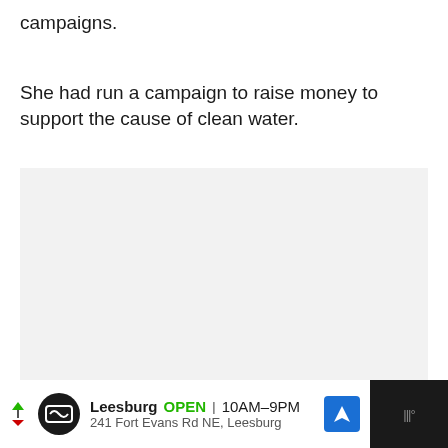campaigns.
She had run a campaign to raise money to support the cause of clean water.
[Figure (other): A light gray placeholder image box with three small gray dots at the bottom center, indicating an image carousel or loading placeholder.]
Leesburg OPEN 10AM–9PM 241 Fort Evans Rd NE, Leesburg